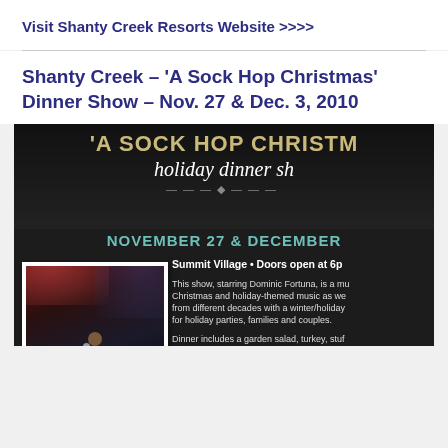Visit Shanty Creek Resorts Website >>>>
Shanty Creek – 'A Sock Hop Christmas' Dinner Show – Nov. 27 & Dec. 3, 2010
[Figure (photo): Promotional poster for 'A Sock Hop Christmas' holiday dinner show at Shanty Creek Resorts, featuring a dark background with gold and white text, teal date bar reading 'NOVEMBER 27 & DECEMBER', and a photo of a performer on stage singing into a microphone with a band behind him.]
Summit Village • Doors open at 6p
This show, starring Dominic Fortuna, is a mu... Christmas and holiday-themed music as we... from different decades with a winter/holiday... for holiday parties, families and couples.
Dinner includes a garden salad, turkey, stuf... potatoes & gravy, green beans and dessert.
Adults: $35.95
Children (12 and under with Children's Menu): $19